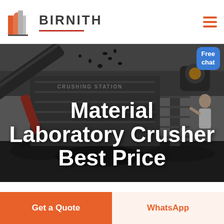BIRNITH
[Figure (photo): Industrial crushing station machinery with heavy equipment and rock/coal processing in the background, dark and moody industrial scene.]
Material Laboratory Crusher Best Price
Free chat
Get a Quote
WhatsApp